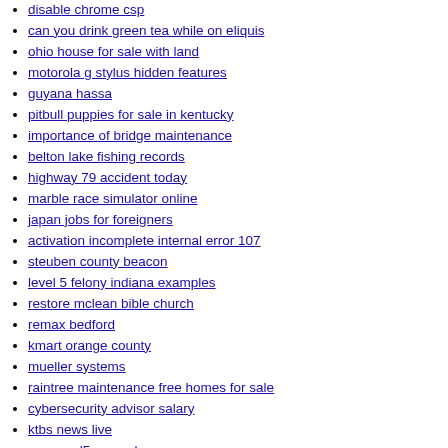disable chrome csp
can you drink green tea while on eliquis
ohio house for sale with land
motorola g stylus hidden features
guyana hassa
pitbull puppies for sale in kentucky
importance of bridge maintenance
belton lake fishing records
highway 79 accident today
marble race simulator online
japan jobs for foreigners
activation incomplete internal error 107
steuben county beacon
level 5 felony indiana examples
restore mclean bible church
remax bedford
kmart orange county
mueller systems
raintree maintenance free homes for sale
cybersecurity advisor salary
ktbs news live
amazon l5 qae salary
climb 15 wordscapes
how to remove acrylic from tanning bed
albuquerque deaths last night